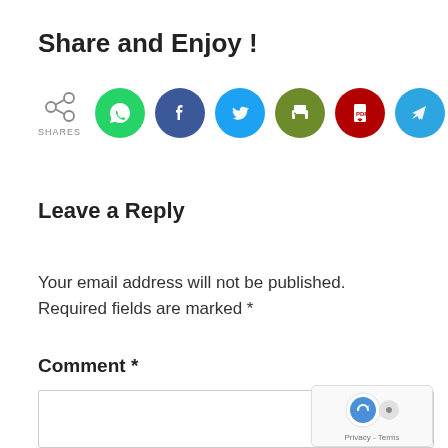Share and Enjoy !
[Figure (infographic): Social share buttons row: share icon with SHARES label, WhatsApp (green), Facebook (blue), Twitter (light blue), Print (olive/green), PDF (red), Telegram (blue), More/Plus (orange)]
Leave a Reply
Your email address will not be published. Required fields are marked *
Comment *
[Figure (screenshot): Empty comment text area input box with reCAPTCHA badge in bottom right corner showing Privacy - Terms]